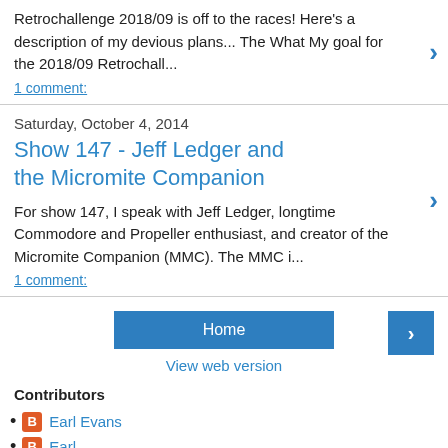Retrochallenge 2018/09 is off to the races! Here's a description of my devious plans... The What My goal for the 2018/09 Retrochall...
1 comment:
Saturday, October 4, 2014
Show 147 - Jeff Ledger and the Micromite Companion
For show 147, I speak with Jeff Ledger, longtime Commodore and Propeller enthusiast, and creator of the Micromite Companion (MMC). The MMC i...
1 comment:
Home
View web version
Contributors
Earl Evans
Earl
Earl